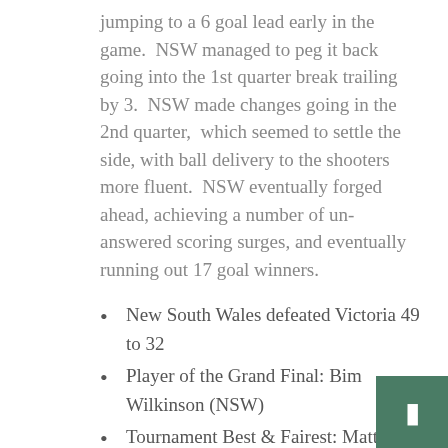jumping to a 6 goal lead early in the game. NSW managed to peg it back going into the 1st quarter break trailing by 3. NSW made changes going in the 2nd quarter, which seemed to settle the side, with ball delivery to the shooters more fluent. NSW eventually forged ahead, achieving a number of un-answered scoring surges, and eventually running out 17 goal winners.
New South Wales defeated Victoria 49 to 32
Player of the Grand Final: Bim Wilkinson (NSW)
Tournament Best & Fairest: Matthew Meaney (Vic #2)
19 & UNDER MEN'S DIVISION
The Grand Final was contested between Victoria and Queensland.
After an exciting extra time battle in the semi final it was set to be a great match.